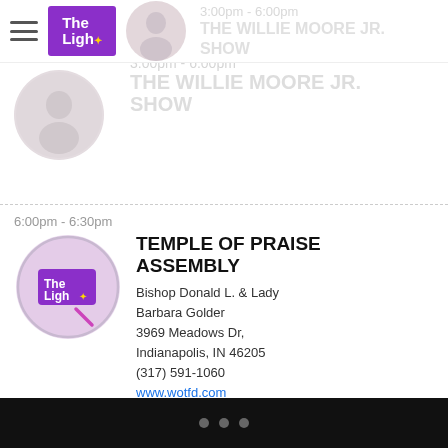[Figure (logo): The Light radio station logo - purple background with white text and star symbol]
3:00pm - 6:00pm
THE WILLIE MOORE JR. SHOW
[Figure (illustration): Circular thumbnail with person photo]
6:00pm - 6:30pm
TEMPLE OF PRAISE ASSEMBLY
Bishop Donald L. & Lady Barbara Golder
3969 Meadows Dr,
Indianapolis, IN 46205
(317) 591-1060
www.wotfd.com
[Figure (logo): Circular thumbnail with The Light logo]
6:30pm - 7:00pm
PROGRAM BLOCK AVAILABLE